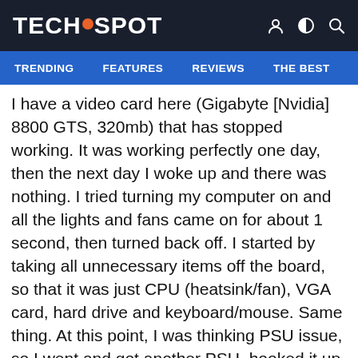TECHSPOT
TRENDING  FEATURES  REVIEWS  THE BEST  DOWNLOA
I have a video card here (Gigabyte [Nvidia] 8800 GTS, 320mb) that has stopped working. It was working perfectly one day, then the next day I woke up and there was nothing. I tried turning my computer on and all the lights and fans came on for about 1 second, then turned back off. I started by taking all unnecessary items off the board, so that it was just CPU (heatsink/fan), VGA card, hard drive and keyboard/mouse. Same thing. At this point, I was thinking PSU issue, so I went and got another PSU, hooked it up to the motherboard, double checked connections, and the same thing happened (lights for a second, then back off). So I went and grabbed another video card (8600 GT), put it in and it worked flawlessly. I put the computer back together, leaving the 8600 GT in place and it ran fine for a long time. Recently I built another new computer, so I figured I'd give the 8800GTS another try with a different